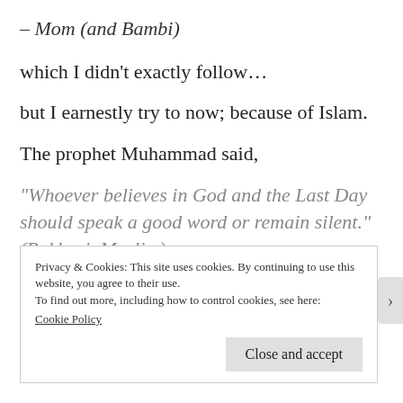– Mom (and Bambi)
which I didn't exactly follow…
but I earnestly try to now; because of Islam.
The prophet Muhammad said,
“Whoever believes in God and the Last Day should speak a good word or remain silent.” (Bukhari, Muslim)
Privacy & Cookies: This site uses cookies. By continuing to use this website, you agree to their use.
To find out more, including how to control cookies, see here:
Cookie Policy
Close and accept